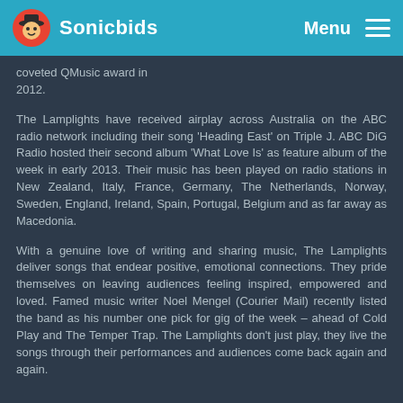Sonicbids  Menu
coveted QMusic award in 2012.
The Lamplights have received airplay across Australia on the ABC radio network including their song 'Heading East' on Triple J. ABC DiG Radio hosted their second album 'What Love Is' as feature album of the week in early 2013. Their music has been played on radio stations in New Zealand, Italy, France, Germany, The Netherlands, Norway, Sweden, England, Ireland, Spain, Portugal, Belgium and as far away as Macedonia.
With a genuine love of writing and sharing music, The Lamplights deliver songs that endear positive, emotional connections. They pride themselves on leaving audiences feeling inspired, empowered and loved. Famed music writer Noel Mengel (Courier Mail) recently listed the band as his number one pick for gig of the week – ahead of Cold Play and The Temper Trap. The Lamplights don't just play, they live the songs through their performances and audiences come back again and again.